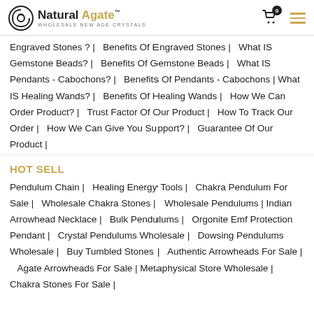Natural Agate™ — Wholesale New Age Crystals
Engraved Stones ? | Benefits Of Engraved Stones | What IS Gemstone Beads? | Benefits Of Gemstone Beads | What IS Pendants - Cabochons? | Benefits Of Pendants - Cabochons | What IS Healing Wands? | Benefits Of Healing Wands | How We Can Order Product? | Trust Factor Of Our Product | How To Track Our Order | How We Can Give You Support? | Guarantee Of Our Product |
HOT SELL
Pendulum Chain | Healing Energy Tools | Chakra Pendulum For Sale | Wholesale Chakra Stones | Wholesale Pendulums | Indian Arrowhead Necklace | Bulk Pendulums | Orgonite Emf Protection Pendant | Crystal Pendulums Wholesale | Dowsing Pendulums Wholesale | Buy Tumbled Stones | Authentic Arrowheads For Sale | Agate Arrowheads For Sale | Metaphysical Store Wholesale | Chakra Stones For Sale |